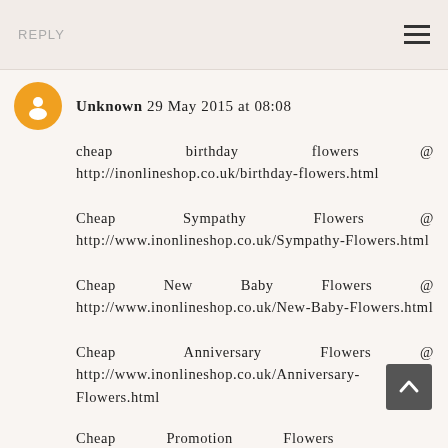REPLY
Unknown 29 May 2015 at 08:08
cheap birthday flowers @ http://inonlineshop.co.uk/birthday-flowers.html
Cheap Sympathy Flowers @ http://www.inonlineshop.co.uk/Sympathy-Flowers.html
Cheap New Baby Flowers @ http://www.inonlineshop.co.uk/New-Baby-Flowers.html
Cheap Anniversary Flowers @ http://www.inonlineshop.co.uk/Anniversary-Flowers.html
Cheap Promotion Flowers @